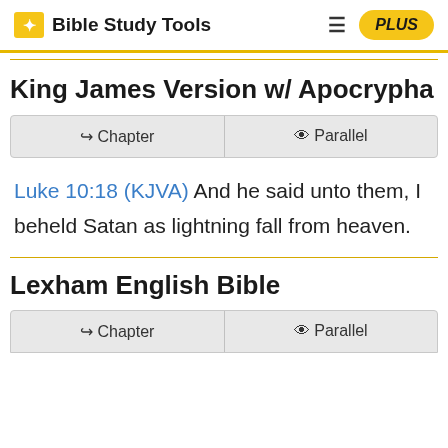Bible Study Tools  PLUS
King James Version w/ Apocrypha
Chapter  Parallel
Luke 10:18 (KJVA) And he said unto them, I beheld Satan as lightning fall from heaven.
Lexham English Bible
Chapter  Parallel